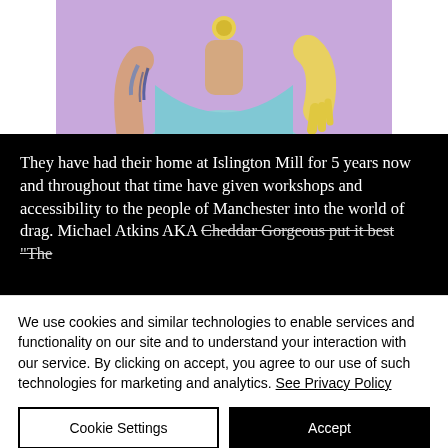[Figure (photo): A person wearing a light blue top and yellow rubber gloves, with tattoos on their arms, posed against a purple background. Only the torso and lower neck are visible, cropped at the top.]
They have had their home at Islington Mill for 5 years now and throughout that time have given workshops and accessibility to the people of Manchester into the world of drag. Michael Atkins AKA Cheddar Gorgeous put it best "The
We use cookies and similar technologies to enable services and functionality on our site and to understand your interaction with our service. By clicking on accept, you agree to our use of such technologies for marketing and analytics. See Privacy Policy